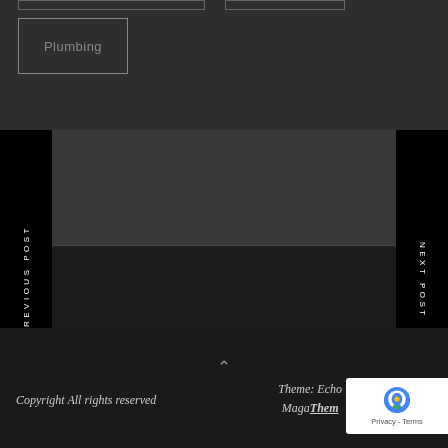Plumbing
PREVIOUS POST
NEXT POST
Copyright All rights reserved
Theme: Echo Magazine Theme
[Figure (logo): reCAPTCHA badge with Privacy - Terms label]